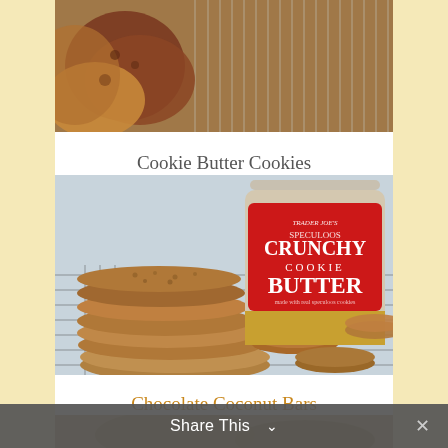[Figure (photo): Cropped top portion of cookies on a cooling rack, partially visible]
Cookie Butter Cookies
[Figure (photo): Stack of speculoos cookie butter cookies on a cooling rack next to a jar of Trader Joe's Speculoos Crunchy Cookie Butter]
Chocolate Coconut Bars
[Figure (photo): Partially visible image of Chocolate Coconut Bars]
Share This ∨  ✕